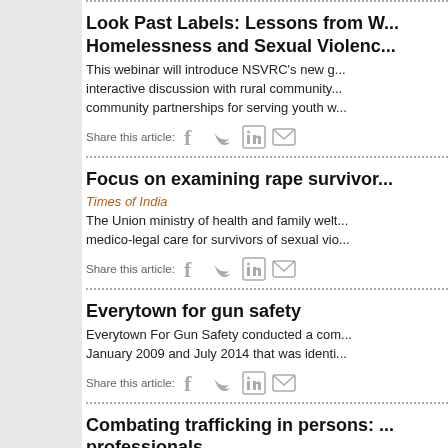Look Past Labels: Lessons from W... Homelessness and Sexual Violenc...
This webinar will introduce NSVRC's new g... interactive discussion with rural community... community partnerships for serving youth w...
Focus on examining rape survivor...
Times of India
The Union ministry of health and family welt... medico-legal care for survivors of sexual vio...
Everytown for gun safety
Everytown For Gun Safety conducted a com... January 2009 and July 2014 that was identi...
Combating trafficking in persons: ... professionals
Global Health Science and Practice